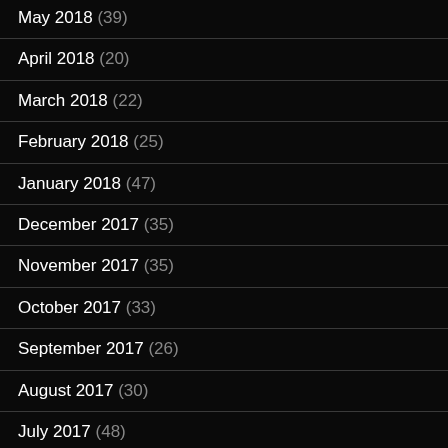May 2018 (39)
April 2018 (20)
March 2018 (22)
February 2018 (25)
January 2018 (47)
December 2017 (35)
November 2017 (35)
October 2017 (33)
September 2017 (26)
August 2017 (30)
July 2017 (48)
June 2017 (42)
May 2017 (31)